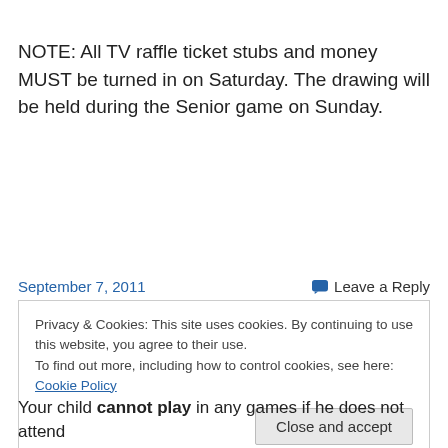NOTE: All TV raffle ticket stubs and money MUST be turned in on Saturday. The drawing will be held during the Senior game on Sunday.
September 7, 2011
Leave a Reply
Privacy & Cookies: This site uses cookies. By continuing to use this website, you agree to their use.
To find out more, including how to control cookies, see here: Cookie Policy
Your child cannot play in any games if he does not attend